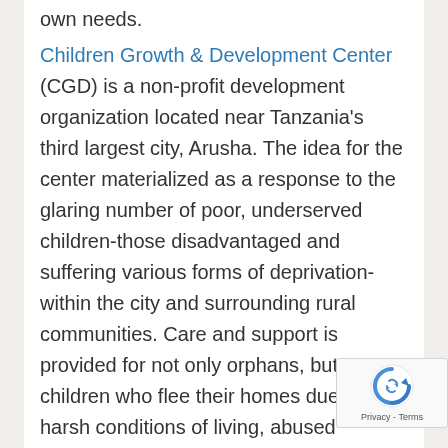own needs.
Children Growth & Development Center (CGD) is a non-profit development organization located near Tanzania's third largest city, Arusha. The idea for the center materialized as a response to the glaring number of poor, underserved children-those disadvantaged and suffering various forms of deprivation-within the city and surrounding rural communities. Care and support is provided for not only orphans, but street children who flee their homes due to harsh conditions of living, abused children living on their own, and children who have dropped out of school. Father Faustine Mosha couldn't help but notice the increasing number of infants and children he was being called to bury at his church in rural Tanzania, as well as the stark number frequenting the church hoping for some means of support. The reality his home community